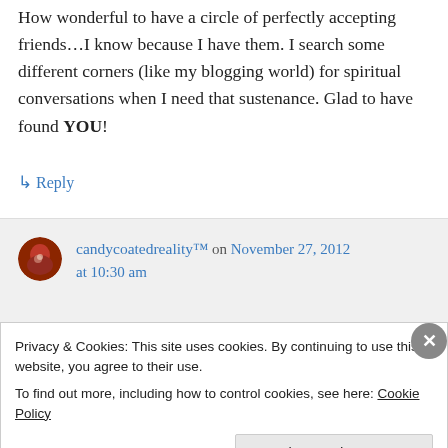How wonderful to have a circle of perfectly accepting friends…I know because I have them. I search some different corners (like my blogging world) for spiritual conversations when I need that sustenance. Glad to have found YOU!
↳ Reply
candycoatedreality™ on November 27, 2012 at 10:30 am
Privacy & Cookies: This site uses cookies. By continuing to use this website, you agree to their use.
To find out more, including how to control cookies, see here: Cookie Policy
Close and accept